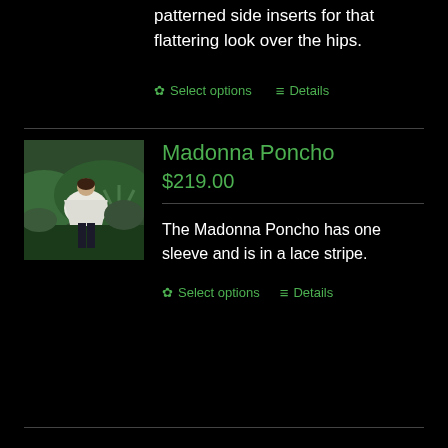patterned side inserts for that flattering look over the hips.
⚙ Select options   ≡ Details
Madonna Poncho
$219.00
[Figure (photo): A person wearing a white poncho standing outdoors in a garden/natural setting with green bushes behind them.]
The Madonna Poncho has one sleeve and is in a lace stripe.
⚙ Select options   ≡ Details